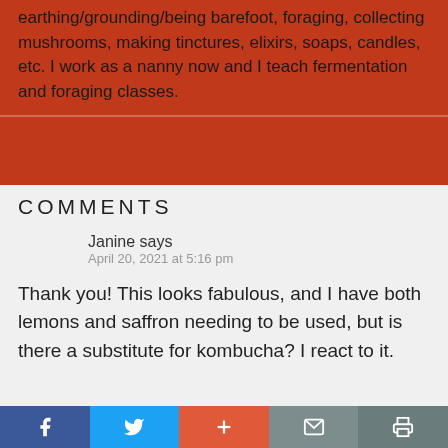earthing/grounding/being barefoot, foraging, collecting mushrooms, making tinctures, elixirs, soaps, candles, etc. I work as a nanny now and I teach fermentation and foraging classes.
COMMENTS
Janine says
April 20, 2021 at 5:16 pm
Thank you! This looks fabulous, and I have both lemons and saffron needing to be used, but is there a substitute for kombucha? I react to it.
Facebook | Twitter | + | Mail | Print